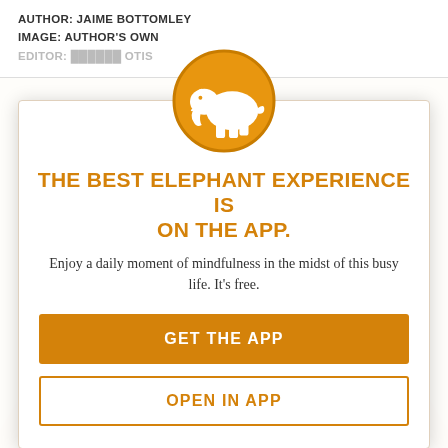AUTHOR: JAIME BOTTOMLEY
IMAGE: AUTHOR'S OWN
EDITOR: ██████ OTIS
[Figure (logo): Elephant Journal app modal popup with orange elephant logo circle, title, subtitle and two buttons]
THE BEST ELEPHANT EXPERIENCE IS ON THE APP.
Enjoy a daily moment of mindfulness in the midst of this busy life. It's free.
GET THE APP
OPEN IN APP